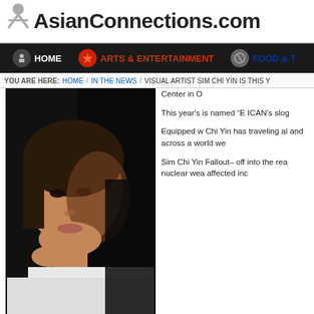AsianConnections.com
HOME  /  ARTS & ENTERTAINMENT  /  FOOD & T...
YOU ARE HERE: HOME / IN THE NEWS / VISUAL ARTIST SIM CHI YIN IS THIS Y...
[Figure (photo): Portrait photo of Sim Chi Yin, a young Asian woman with dark hair, leaning on her hand and looking at the camera against a dark background.]
Center in O...
This year's is named "E ICAN's slog
Equipped w Chi Yin has traveling al and across a world we
Sim Chi Yin Fallout– off into the rea nuclear wea affected inc